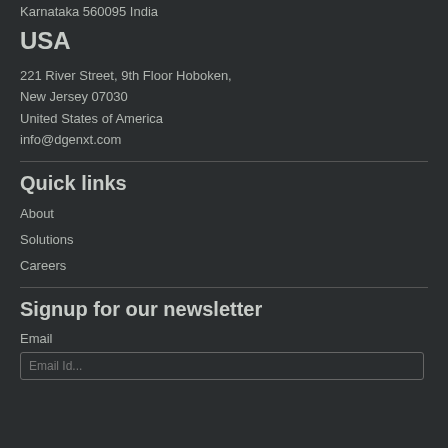Karnataka 560095 India
USA
221 River Street, 9th Floor Hoboken,
New Jersey 07030
United States of America
info@dgenxt.com
Quick links
About
Solutions
Careers
Signup for our newsletter
Email
Email Id...